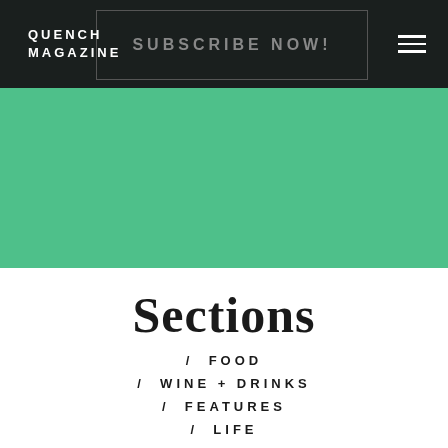QUENCH MAGAZINE
SUBSCRIBE NOW!
[Figure (illustration): Green banner background strip]
Sections
/ FOOD
/ WINE + DRINKS
/ FEATURES
/ LIFE